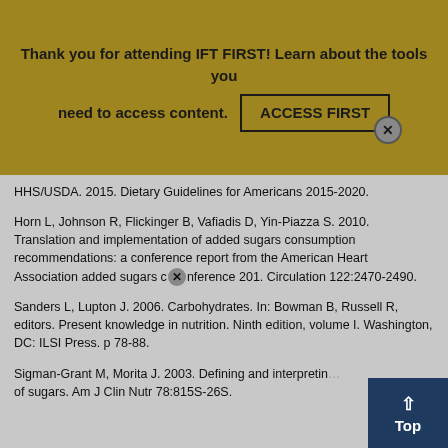[Figure (other): Banner popup overlay with gold/olive background. Text reads: 'Thank you for attending IFT FIRST! Learn about the tools you need to access content.' with an 'ACCESS FIRST' button and a close (X) circle button.]
HHS/USDA. 2015. Dietary Guidelines for Americans 2015-2020.
Horn L, Johnson R, Flickinger B, Vafiadis D, Yin-Piazza S. 2010. Translation and implementation of added sugars consumption recommendations: a conference report from the American Heart Association added sugars conference 201. Circulation 122:2470-2490.
Sanders L, Lupton J. 2006. Carbohydrates. In: Bowman B, Russell R, editors. Present knowledge in nutrition. Ninth edition, volume I. Washington, DC: ILSI Press. p 78-88.
Sigman-Grant M, Morita J. 2003. Defining and interpreting... of sugars. Am J Clin Nutr 78:815S-26S.